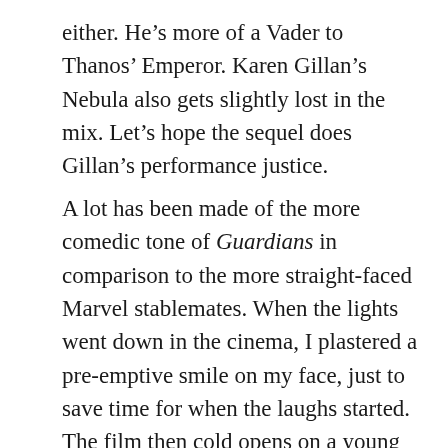either. He's more of a Vader to Thanos' Emperor. Karen Gillan's Nebula also gets slightly lost in the mix. Let's hope the sequel does Gillan's performance justice.
A lot has been made of the more comedic tone of Guardians in comparison to the more straight-faced Marvel stablemates. When the lights went down in the cinema, I plastered a pre-emptive smile on my face, just to save time for when the laughs started. The film then cold opens on a young Quill, in a hospital at his mother's deathbed. My face fell. It's a genuinely moving scene and I soon realised that Guardians may not quite be the lark-about space opera I thought it was. Don't get me